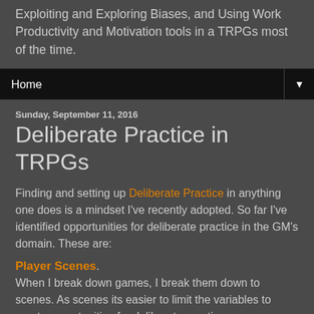Exploiting and Exploring Biases, and Using Work Productivity and Motivation tools in a TRPGs most of the time.
Home
Sunday, September 11, 2016
Deliberate Practice in TRPGs
Finding and setting up Deliberate Practice in anything one does is a mindset I've recently adopted. So far I've identified opportunities for deliberate practice in the GM's domain. These are:
Player Scenes.
When I break down games, I break them down to scenes. As scenes its easier to limit the variables to create opportunities for deliberate practice.
Metrics:
1) Time to communicate,
2) effectiveness of communication (the player's feedback or